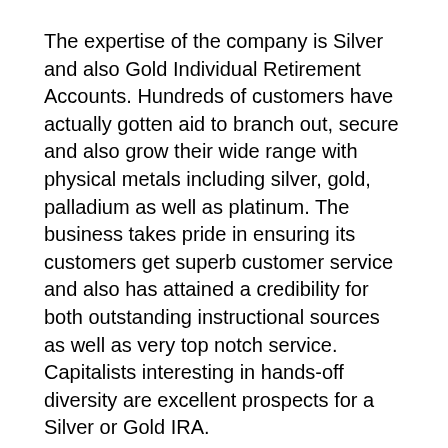The expertise of the company is Silver and also Gold Individual Retirement Accounts. Hundreds of customers have actually gotten aid to branch out, secure and also grow their wide range with physical metals including silver, gold, palladium as well as platinum. The business takes pride in ensuring its customers get superb customer service and also has attained a credibility for both outstanding instructional sources as well as very top notch service. Capitalists interesting in hands-off diversity are excellent prospects for a Silver or Gold IRA.
Despite the constraint of this type of IRA to a solitary asset class, investors obtain an chance to invest in precious metals as a